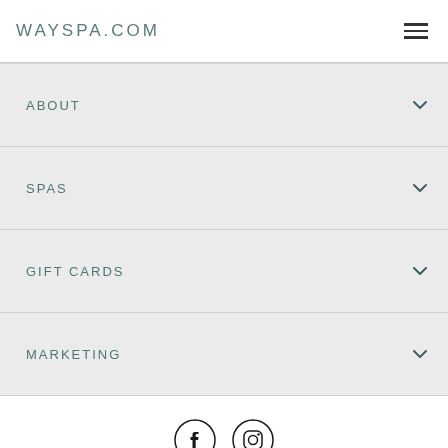WAYSPA.COM
ABOUT
SPAS
GIFT CARDS
MARKETING
[Figure (logo): Facebook and Instagram social media icons]